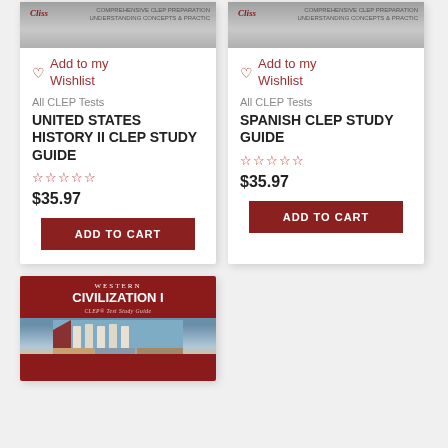[Figure (photo): CLSS book cover thumbnail for United States History II CLEP Study Guide]
Add to my Wishlist
All CLEP Tests
UNITED STATES HISTORY II CLEP STUDY GUIDE
★★★★★ (empty stars rating)
$35.97
ADD TO CART
[Figure (photo): CLSS book cover thumbnail for Spanish CLEP Study Guide]
Add to my Wishlist
All CLEP Tests
SPANISH CLEP STUDY GUIDE
★★★★★ (empty stars rating)
$35.97
ADD TO CART
[Figure (photo): Western Civilization I CLEP Test Study Guide book cover with columns and red background]